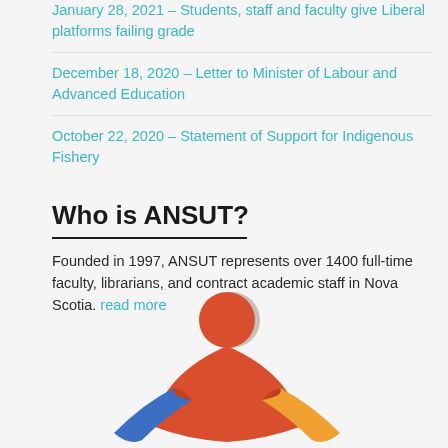January 28, 2021 – Students, staff and faculty give Liberal platforms failing grade
December 18, 2020 – Letter to Minister of Labour and Advanced Education
October 22, 2020 – Statement of Support for Indigenous Fishery
Who is ANSUT?
Founded in 1997, ANSUT represents over 1400 full-time faculty, librarians, and contract academic staff in Nova Scotia. read more
[Figure (illustration): Red stylized person figure (ANSUT logo) with blue and yellow/orange hands extended, shown from upper body, against light background]